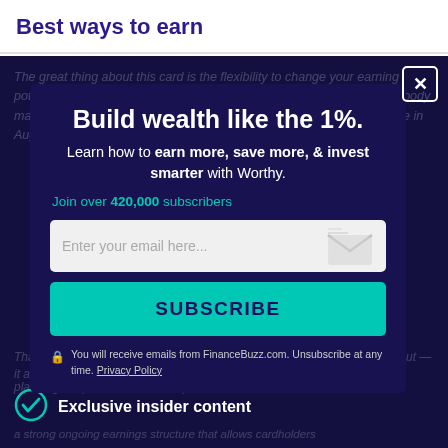Best ways to earn
The great thing about this card is the flexibility to change your earning potential according to how and when you spend. For example, a homebody may remodel in January and do a ton of back-to-school shopping online in August, and enjoy travel in September and October.
Build wealth like the 1%.
Learn how to earn more, save more, & invest smarter with Worthy.
Join over 420,000 subscribers
Enter your email here...
SUBSCRIBE
You will receive emails from FinanceBuzz.com. Unsubscribe at any time. Privacy Policy
planning a trip, but it doesn't help as much when I'm
That's why the Bank of America Customized Cash Rewards card stands out — it allows cardholders
Exclusive insider content